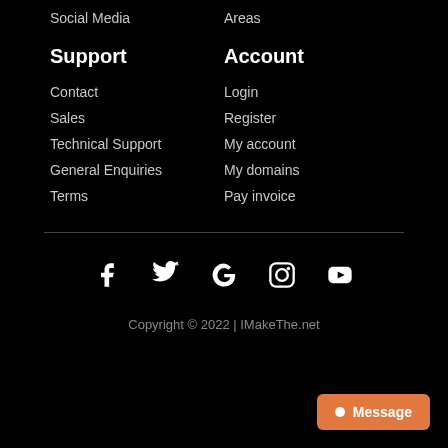Social Media
Areas
Support
Account
Contact
Login
Sales
Register
Technical Support
My account
General Enquiries
My domains
Terms
Pay invoice
[Figure (infographic): Social media icons: Facebook, Twitter, Google, Instagram, YouTube]
Copyright © 2022 | IMakeThe.net